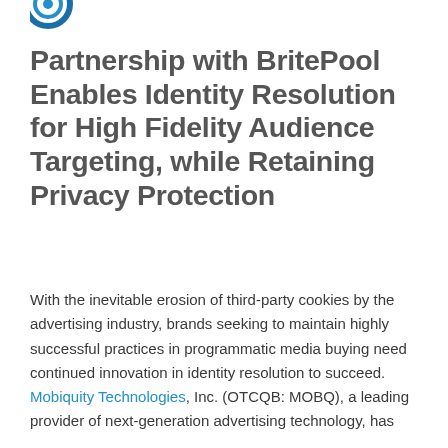[Figure (logo): Partial circular logo/icon visible at top left corner]
Partnership with BritePool Enables Identity Resolution for High Fidelity Audience Targeting, while Retaining Privacy Protection
With the inevitable erosion of third-party cookies by the advertising industry, brands seeking to maintain highly successful practices in programmatic media buying need continued innovation in identity resolution to succeed. Mobiquity Technologies, Inc. (OTCQB: MOBQ), a leading provider of next-generation advertising technology, has